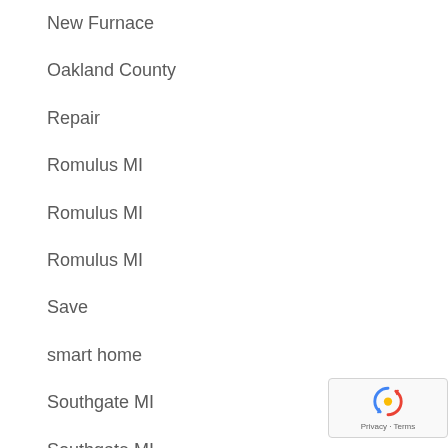New Furnace
Oakland County
Repair
Romulus MI
Romulus MI
Romulus MI
Save
smart home
Southgate MI
Southgate MI
Southgate MI
Southgate MI